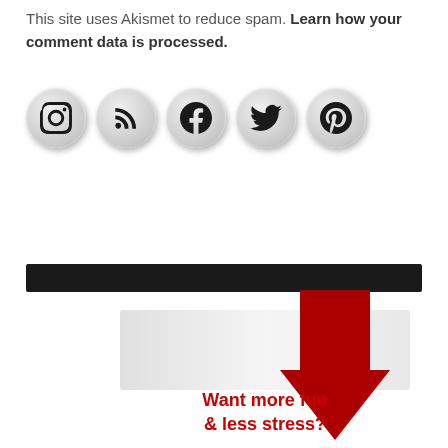This site uses Akismet to reduce spam. Learn how your comment data is processed.
[Figure (illustration): Five social media icon circles: Instagram, RSS feed, Facebook, Twitter, Pinterest]
[Figure (illustration): Black horizontal bar divider]
[Figure (illustration): Light gray horizontal banner with a large red downward arrow overlapping the right side]
Want more fun & less stress?